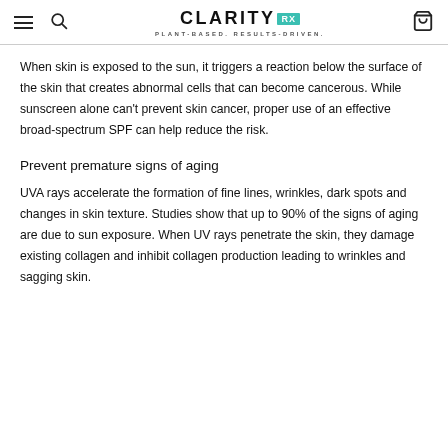CLARITY RX — PLANT-BASED. RESULTS-DRIVEN.
When skin is exposed to the sun, it triggers a reaction below the surface of the skin that creates abnormal cells that can become cancerous. While sunscreen alone can't prevent skin cancer, proper use of an effective broad-spectrum SPF can help reduce the risk.
Prevent premature signs of aging
UVA rays accelerate the formation of fine lines, wrinkles, dark spots and changes in skin texture. Studies show that up to 90% of the signs of aging are due to sun exposure. When UV rays penetrate the skin, they damage existing collagen and inhibit collagen production leading to wrinkles and sagging skin.